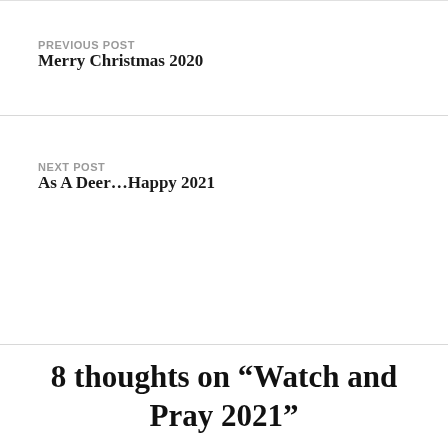PREVIOUS POST
Merry Christmas 2020
NEXT POST
As A Deer…Happy 2021
8 thoughts on “Watch and Pray 2021”